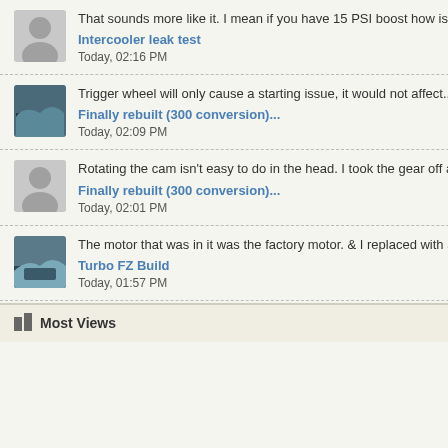That sounds more like it. I mean if you have 15 PSI boost how is 3.5 PSI...
Intercooler leak test
Today, 02:16 PM
Trigger wheel will only cause a starting issue, it would not affect...
Finally rebuilt (300 conversion)...
Today, 02:09 PM
Rotating the cam isn't easy to do in the head. I took the gear off and...
Finally rebuilt (300 conversion)...
Today, 02:01 PM
The motor that was in it was the factory motor. & I replaced with a...
Turbo FZ Build
Today, 01:57 PM
Most Views
Replies should be po... interested in the item...
No piggybacking or ... thread, start your ow...
Bump your thread no... will get them all dele...
No Auctions, lotteries... etc. Auctions is what...
No skis or hulls withe... here.
We do not allow sale...
If somebody says "D... it" it is customary an... chance and so on in... excluding someone s... hinder future sales.
Keep activity in the f... many issue and sho... info etc.
No dealer or comme... of the Site owner Gr... a pm he can be very...
No Sales of informat... then keep it to yours...
Scamming, mispre... received, parts deliv... description etc. Basi... membership, post th...